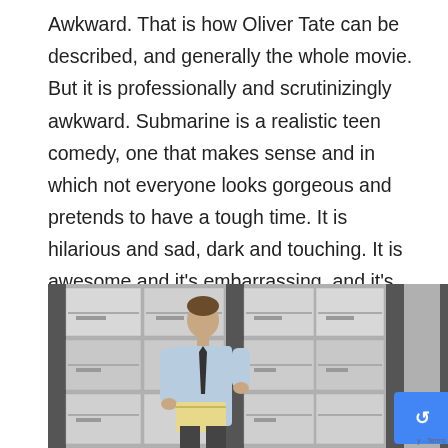Awkward. That is how Oliver Tate can be described, and generally the whole movie. But it is professionally and scrutinizingly awkward. Submarine is a realistic teen comedy, one that makes sense and in which not everyone looks gorgeous and pretends to have a tough time. It is hilarious and sad, dark and touching. It is awesome and it's embarrassing, and it's the kind of movie that gets nearly everything about being a teen right, no matter where you grew up.
[Figure (photo): A man in a light blue dress shirt and dark tie standing in front of shelves filled with grey/white archive boxes or file folders, appearing to look down at something he's holding.]